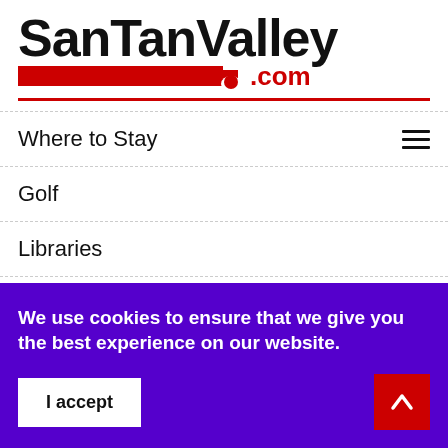[Figure (logo): SanTanValley.com logo — large bold black text 'SanTanValley' above a red horizontal bar with '.com' in red at the right end]
Where to Stay
Golf
Libraries
Parks & Rec
Healthcare Providers
We use cookies to ensure that we give you the best experience on our website.
I accept